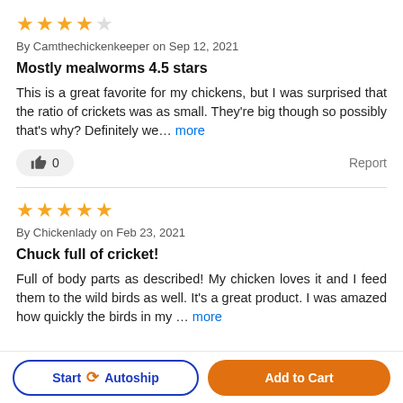[Figure (other): 4 filled orange stars and 1 empty star rating]
By Camthechickenkeeper on Sep 12, 2021
Mostly mealworms 4.5 stars
This is a great favorite for my chickens, but I was surprised that the ratio of crickets was as small. They're big though so possibly that's why? Definitely we... more
[Figure (other): 5 filled orange stars rating]
By Chickenlady on Feb 23, 2021
Chuck full of cricket!
Full of body parts as described! My chicken loves it and I feed them to the wild birds as well. It's a great product. I was amazed how quickly the birds in my ... more